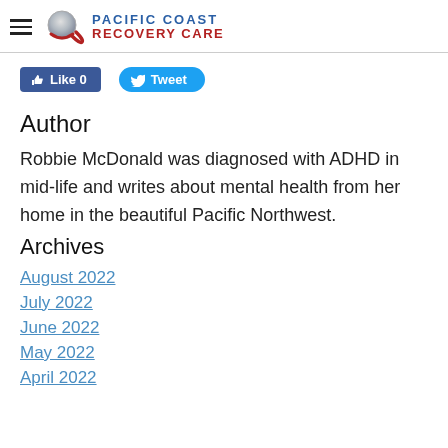Pacific Coast Recovery Care
[Figure (logo): Pacific Coast Recovery Care logo with globe/key icon, blue and red text]
Like 0   Tweet
Author
Robbie McDonald was diagnosed with ADHD in mid-life and writes about mental health from her home in the beautiful Pacific Northwest.
Archives
August 2022
July 2022
June 2022
May 2022
April 2022